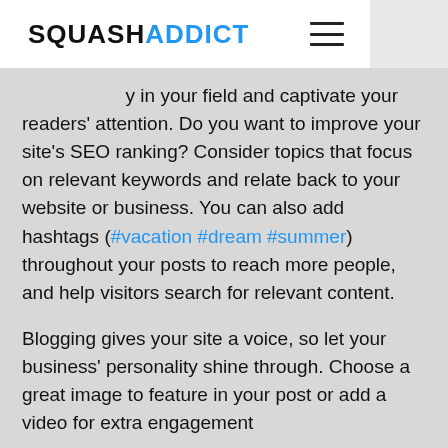SQUASHADDICT
...y in your field and captivate your readers' attention. Do you want to improve your site's SEO ranking? Consider topics that focus on relevant keywords and relate back to your website or business. You can also add hashtags (#vacation #dream #summer) throughout your posts to reach more people, and help visitors search for relevant content.
Blogging gives your site a voice, so let your business' personality shine through. Choose a great image to feature in your post or add a video for extra engagement